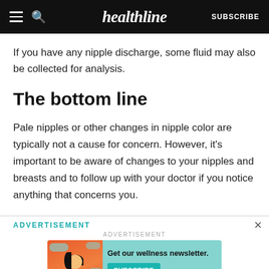healthline  SUBSCRIBE
If you have any nipple discharge, some fluid may also be collected for analysis.
The bottom line
Pale nipples or other changes in nipple color are typically not a cause for concern. However, it's important to be aware of changes to your nipples and breasts and to follow up with your doctor if you notice anything that concerns you.
[Figure (screenshot): Advertisement banner for Healthline wellness newsletter with teal background, illustrated woman, and Subscribe button]
ADVERTISEMENT